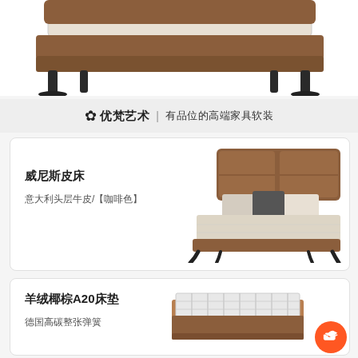[Figure (photo): Partial view of a brown leather bed with dark metal legs on white background, cropped at top]
[Figure (logo): 优梵艺术 brand logo with dandelion icon and tagline 有品位的高端家具软装]
[Figure (photo): Venice leather bed (威尼斯皮床) in coffee/brown color, Italian top-grain cowhide, with pillows on white background]
威尼斯皮床
意大利头层牛皮/【咖啡色】
[Figure (photo): Cashmere coconut palm A20 mattress (羊绒椰棕A20床垫), striped top surface with brown border]
羊绒椰棕A20床垫
德国高碳整张弹簧